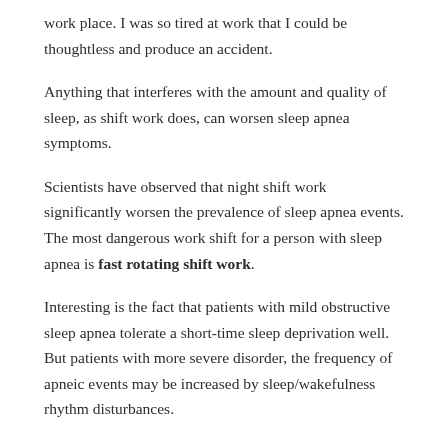work place. I was so tired at work that I could be thoughtless and produce an accident.
Anything that interferes with the amount and quality of sleep, as shift work does, can worsen sleep apnea symptoms.
Scientists have observed that night shift work significantly worsen the prevalence of sleep apnea events. The most dangerous work shift for a person with sleep apnea is fast rotating shift work.
Interesting is the fact that patients with mild obstructive sleep apnea tolerate a short-time sleep deprivation well. But patients with more severe disorder, the frequency of apneic events may be increased by sleep/wakefulness rhythm disturbances.